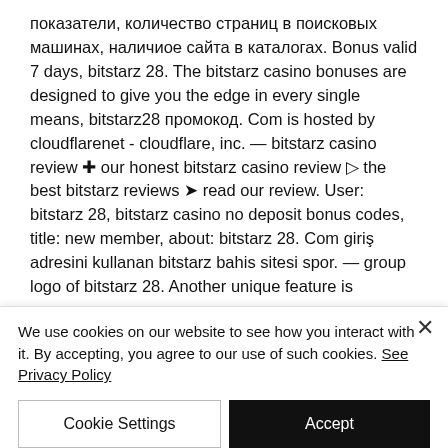показатели, количество страниц в поисковых машинах, наличиое сайта в каталогах. Bonus valid 7 days, bitstarz 28. The bitstarz casino bonuses are designed to give you the edge in every single means, bitstarz28 промокод. Com is hosted by cloudflarenet - cloudflare, inc. — bitstarz casino review ✚ our honest bitstarz casino review ▷ the best bitstarz reviews ➤ read our review. User: bitstarz 28, bitstarz casino no deposit bonus codes, title: new member, about: bitstarz 28. Com giriş adresini kullanan bitstarz bahis sitesi spor. — group logo of bitstarz 28. Another unique feature is
We use cookies on our website to see how you interact with it. By accepting, you agree to our use of such cookies. See Privacy Policy
Cookie Settings
Accept